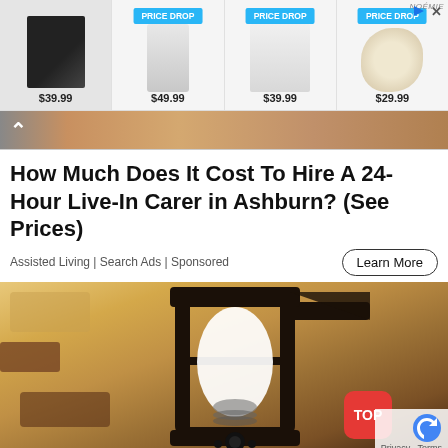[Figure (screenshot): Advertisement banner showing 4 product items with PRICE DROP badges and prices: $39.99, $49.99, $39.99, $29.99, with brand label NOÉMIE]
[Figure (photo): Partial photo of a person with red hair wearing a scarf, visible below the ad products row]
How Much Does It Cost To Hire A 24-Hour Live-In Carer in Ashburn? (See Prices)
Assisted Living | Search Ads | Sponsored
Learn More
[Figure (photo): Close-up photo of a black outdoor wall lantern mounted on a textured stone/stucco wall, with a white LED bulb installed inside]